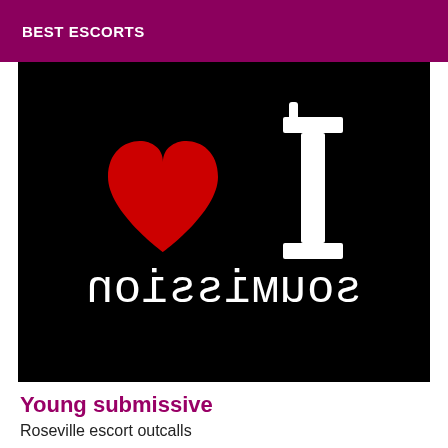BEST ESCORTS
[Figure (illustration): Black background image with a red heart on the left and a white serif letter 'I' on the right (with apostrophe), and the word 'souмission' mirrored/flipped horizontally in white serif text at the bottom.]
Young submissive
Roseville escort outcalls